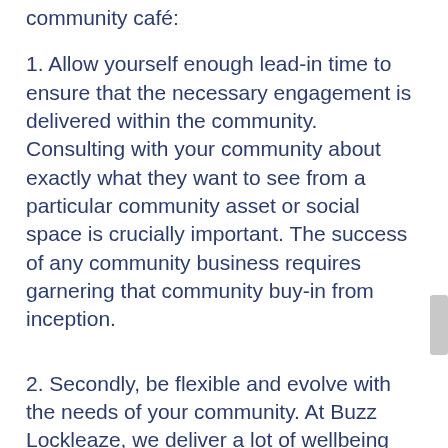community café:
1. Allow yourself enough lead-in time to ensure that the necessary engagement is delivered within the community. Consulting with your community about exactly what they want to see from a particular community asset or social space is crucially important. The success of any community business requires garnering that community buy-in from inception.
2. Secondly, be flexible and evolve with the needs of your community. At Buzz Lockleaze, we deliver a lot of wellbeing activities from our café, many of which…